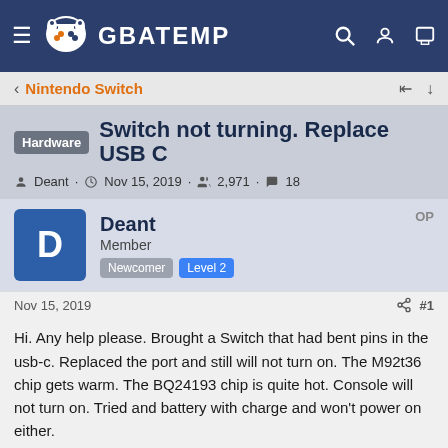GBATEMP
Nintendo Switch
Hardware  Switch not turning. Replace USB C
Deant · Nov 15, 2019 · 2,971 · 18
Deant
Member
Newcomer  Level 2
OP
Nov 15, 2019  #1
Hi. Any help please. Brought a Switch that had bent pins in the usb-c. Replaced the port and still will not turn on. The M92t36 chip gets warm. The BQ24193 chip is quite hot. Console will not turn on. Tried and battery with charge and won't power on either.
Pet Food, Products, Supplies at Low Prices -
Pay the lowest prices on pet supplies at Chewy.com
chewy.com